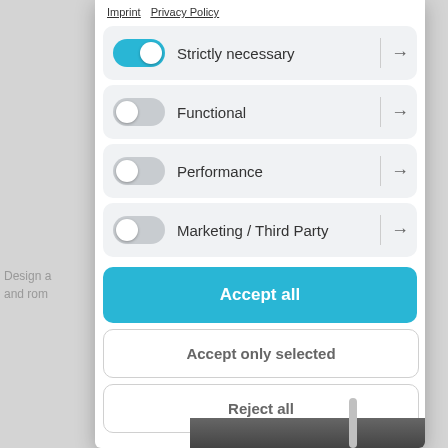Imprint   Privacy Policy
Strictly necessary →
Functional →
Performance →
Marketing / Third Party →
Accept all
Accept only selected
Reject all
Design a and rom